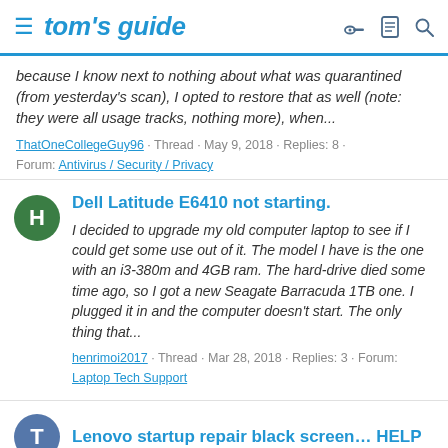tom's guide
because I know next to nothing about what was quarantined (from yesterday's scan), I opted to restore that as well (note: they were all usage tracks, nothing more), when...
ThatOneCollegeGuy96 · Thread · May 9, 2018 · Replies: 8 · Forum: Antivirus / Security / Privacy
Dell Latitude E6410 not starting.
I decided to upgrade my old computer laptop to see if I could get some use out of it. The model I have is the one with an i3-380m and 4GB ram. The hard-drive died some time ago, so I got a new Seagate Barracuda 1TB one. I plugged it in and the computer doesn't start. The only thing that...
henrimoi2017 · Thread · Mar 28, 2018 · Replies: 3 · Forum: Laptop Tech Support
Lenovo startup repair black screen… HELP